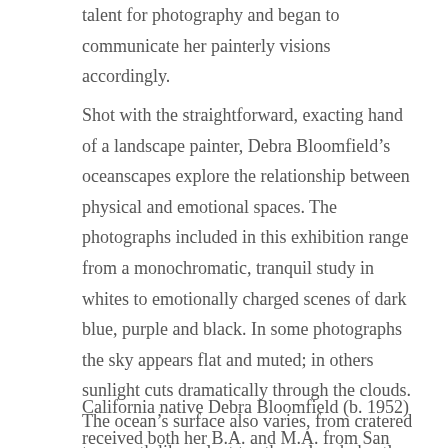talent for photography and began to communicate her painterly visions accordingly.
Shot with the straightforward, exacting hand of a landscape painter, Debra Bloomfield’s oceanscapes explore the relationship between physical and emotional spaces. The photographs included in this exhibition range from a monochromatic, tranquil study in whites to emotionally charged scenes of dark blue, purple and black. In some photographs the sky appears flat and muted; in others sunlight cuts dramatically through the clouds. The ocean’s surface also varies, from cratered to smooth like velvet to ethereal and ghostly.
California native Debra Bloomfield (b. 1952) received both her B.A. and M.A. from San Francisco State